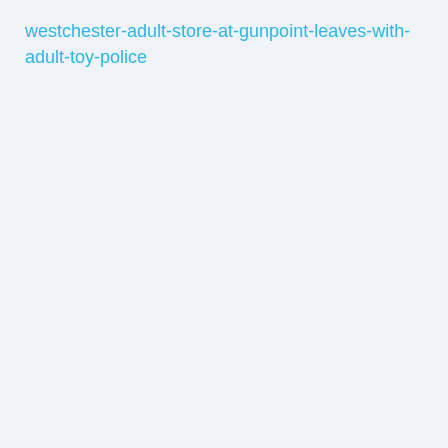westchester-adult-store-at-gunpoint-leaves-with-adult-toy-police